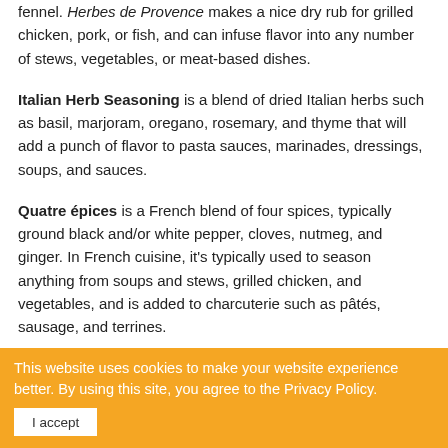fennel. Herbes de Provence makes a nice dry rub for grilled chicken, pork, or fish, and can infuse flavor into any number of stews, vegetables, or meat-based dishes.
Italian Herb Seasoning is a blend of dried Italian herbs such as basil, marjoram, oregano, rosemary, and thyme that will add a punch of flavor to pasta sauces, marinades, dressings, soups, and sauces.
Quatre épices is a French blend of four spices, typically ground black and/or white pepper, cloves, nutmeg, and ginger. In French cuisine, it's typically used to season anything from soups and stews, grilled chicken, and vegetables, and is added to charcuterie such as pâtés, sausage, and terrines.
Ras el Hanout translates to "head of the shop" in
This website uses cookies to make your website experience better. By using this site, you agree to the Privacy Policy.